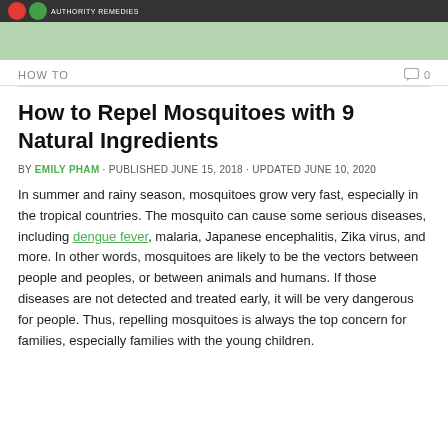HOW TO  0
How to Repel Mosquitoes with 9 Natural Ingredients
BY EMILY PHAM · PUBLISHED JUNE 15, 2018 · UPDATED JUNE 10, 2020
In summer and rainy season, mosquitoes grow very fast, especially in the tropical countries. The mosquito can cause some serious diseases, including dengue fever, malaria, Japanese encephalitis, Zika virus, and more. In other words, mosquitoes are likely to be the vectors between people and peoples, or between animals and humans. If those diseases are not detected and treated early, it will be very dangerous for people. Thus, repelling mosquitoes is always the top concern for families, especially families with the young children.